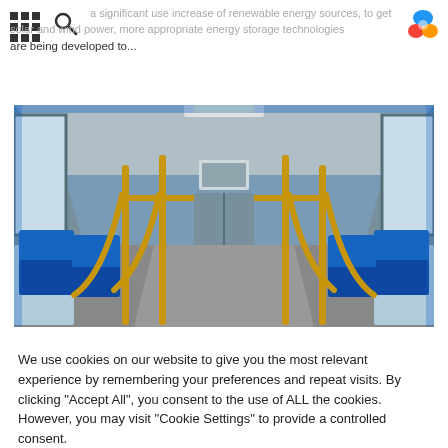a significant use increase of renewable energy sources, to get solar and wind power, more appropriate energy storage technologies are being developed to...
[Figure (photo): Interior of a modern tram or light rail vehicle showing blue seats, yellow handrails, and large windows along both sides, with a view down the aisle toward the front.]
We use cookies on our website to give you the most relevant experience by remembering your preferences and repeat visits. By clicking "Accept All", you consent to the use of ALL the cookies. However, you may visit "Cookie Settings" to provide a controlled consent.